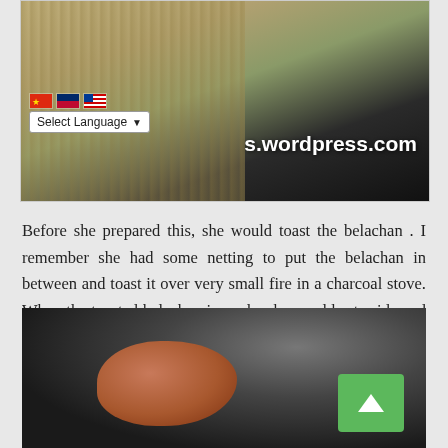[Figure (photo): Top portion of a blog header image showing bamboo mat, dark pot, and language selector overlay with flags and 's.wordpress.com' text visible]
Before she prepared this, she would toast the belachan . I remember she had some netting to put the belachan in between and toast it over very small fire in a charcoal stove. When the toasted belachan is ready, she would set aside and called me to help.
[Figure (photo): Photo of a lump of toasted belachan (fermented shrimp paste) on a dark surface, with a green scroll-to-top button in the lower right corner]